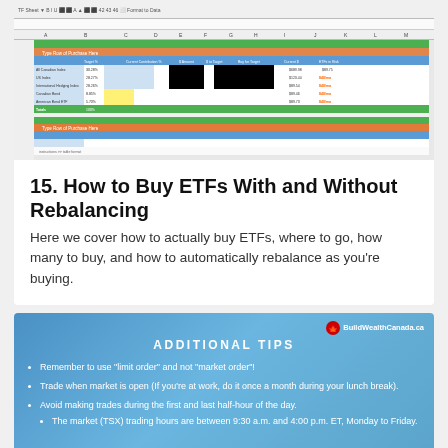[Figure (screenshot): Screenshot of an Excel spreadsheet showing ETF portfolio rebalancing tracker with colored cells (blue, green, orange, black) representing different portfolio columns and data rows]
15. How to Buy ETFs With and Without Rebalancing
Here we cover how to actually buy ETFs, where to go, how many to buy, and how to automatically rebalance as you're buying.
[Figure (infographic): Blue gradient slide with BuildWealthCanada.ca logo and maple leaf icon. Title: ADDITIONAL TIPS. Bullet points: Remember to use 'limit order' and not 'market order'!; Trade when market is open (If you're at work, do it once a month during your lunch break).; Avoid making trades during the first and last half-hour of the day. Sub-bullet: The market (TSX) trading hours are between 9:30 a.m. and 4:00 p.m. ET, Monday to Friday.]